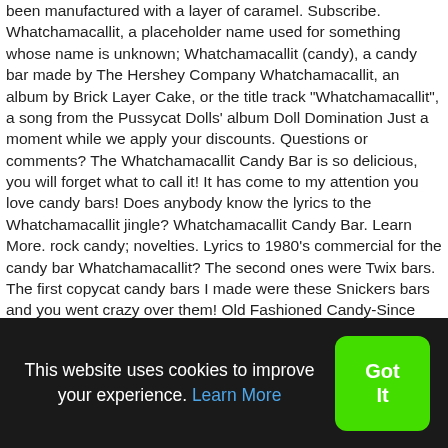been manufactured with a layer of caramel. Subscribe. Whatchamacallit, a placeholder name used for something whose name is unknown; Whatchamacallit (candy), a candy bar made by The Hershey Company Whatchamacallit, an album by Brick Layer Cake, or the title track "Whatchamacallit", a song from the Pussycat Dolls' album Doll Domination Just a moment while we apply your discounts. Questions or comments? The Whatchamacallit Candy Bar is so delicious, you will forget what to call it! It has come to my attention you love candy bars! Does anybody know the lyrics to the Whatchamacallit jingle? Whatchamacallit Candy Bar. Learn More. rock candy; novelties. Lyrics to 1980's commercial for the candy bar Whatchamacallit? The second ones were Twix bars. The first copycat candy bars I made were these Snickers bars and you went crazy over them! Old Fashioned Candy-Since 1946 That's because these candy bars are an incredible combination of caramel, peanut flavored crisps and
This website uses cookies to improve your experience. Learn More
Got It